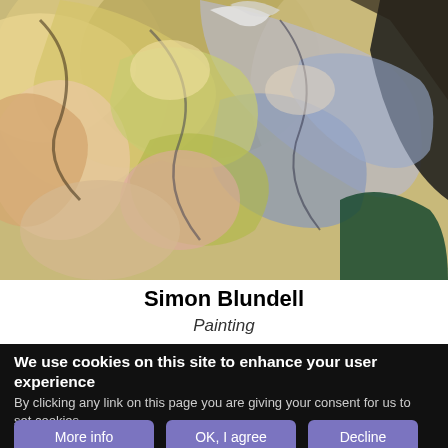[Figure (photo): Abstract impressionist painting with swirling figures in yellow, blue, green, and earthy tones — partial view cropped at top]
Simon Blundell
Painting
We use cookies on this site to enhance your user experience
By clicking any link on this page you are giving your consent for us to set cookies.
More info
OK, I agree
Decline